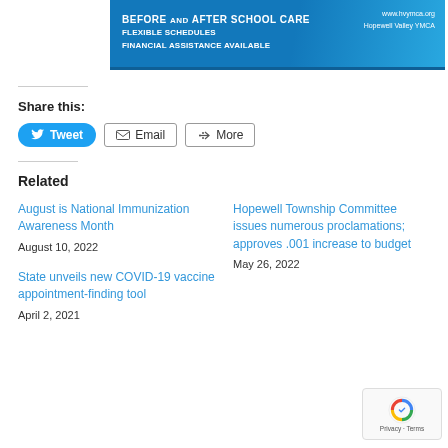[Figure (illustration): Blue banner advertisement for Hopewell Valley YMCA Before and After School Care with flexible schedules and financial assistance available]
Share this:
[Figure (infographic): Share buttons: Tweet (blue rounded), Email (outlined), More (outlined)]
Related
August is National Immunization Awareness Month
August 10, 2022
Hopewell Township Committee issues numerous proclamations; approves .001 increase to budget
May 26, 2022
State unveils new COVID-19 vaccine appointment-finding tool
April 2, 2021